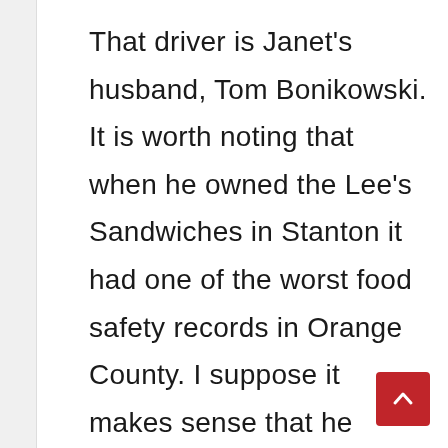That driver is Janet's husband, Tom Bonikowski. It is worth noting that when he owned the Lee's Sandwiches in Stanton it had one of the worst food safety records in Orange County. I suppose it makes sense that he would endanger his own child when he clearly didn't give a darn about public...